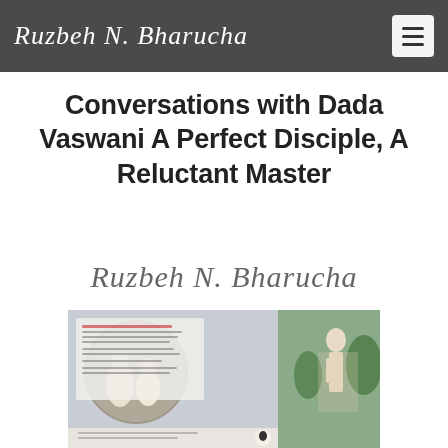Ruzbeh N. Bharucha
Conversations with Dada Vaswani A Perfect Disciple, A Reluctant Master
Ruzbeh N. Bharucha
[Figure (photo): Book cover of 'Conversations with Dada' showing a photo of two people seated in conversation on the left side and a statue in a garden on the right side, with text overlay including a quote about spirituality.]